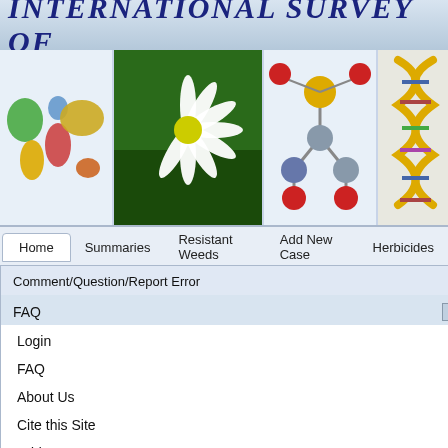INTERNATIONAL SURVEY OF
[Figure (screenshot): Website screenshot showing International Survey of Herbicide Resistant Weeds with navigation menu expanded showing FAQ, Login, About Us, Cite this Site, Add New Case, Add Documents, Summaries, US State Map items, and right panel showing MULT title with Inhibition text and Case Details/Similar Cases tabs]
Home
Summaries
Resistant Weeds
Add New Case
Herbicides
Comment/Question/Report Error
FAQ
Login
FAQ
About Us
Cite this Site
Add New Case
Add Documents
Summaries
US State Map
MULT
Inhibition of Enolpy
Case Details
Similar Cases
INTRODUCT